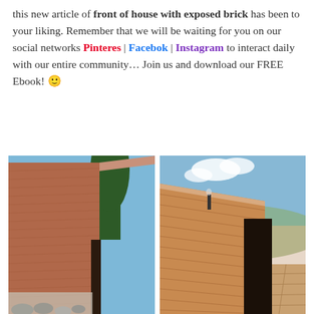this new article of front of house with exposed brick has been to your liking. Remember that we will be waiting for you on our social networks Pinteres | Facebok | Instagram to interact daily with our entire community… Join us and download our FREE Ebook! 🙂
[Figure (photo): Close-up photo of a modern house exterior wall with exposed red/brown horizontal brick pattern, a dark narrow door/window visible, blue sky and a tall tree in background, rocky ground at base.]
[Figure (photo): Photo of a modern house with exposed horizontal brick facade, dark doorway entrance, brick paved terrace/patio, chimney pipe visible, partly cloudy blue sky, hilly landscape in background.]